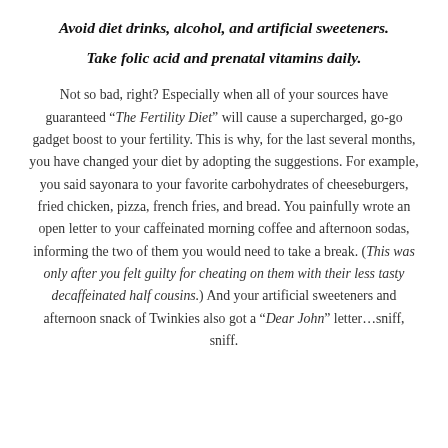Avoid diet drinks, alcohol, and artificial sweeteners.
Take folic acid and prenatal vitamins daily.
Not so bad, right? Especially when all of your sources have guaranteed “The Fertility Diet” will cause a supercharged, go-go gadget boost to your fertility. This is why, for the last several months, you have changed your diet by adopting the suggestions. For example, you said sayonara to your favorite carbohydrates of cheeseburgers, fried chicken, pizza, french fries, and bread. You painfully wrote an open letter to your caffeinated morning coffee and afternoon sodas, informing the two of them you would need to take a break. (This was only after you felt guilty for cheating on them with their less tasty decaffeinated half cousins.) And your artificial sweeteners and afternoon snack of Twinkies also got a “Dear John” letter…sniff, sniff.